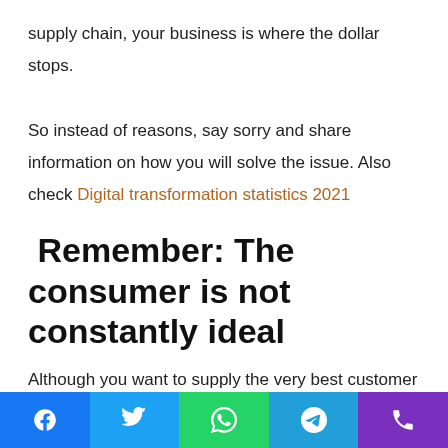supply chain, your business is where the dollar stops.

So instead of reasons, say sorry and share information on how you will solve the issue. Also check Digital transformation statistics 2021
Remember: The consumer is not constantly ideal
Although you want to supply the very best customer experience possible, you should not neglect the reality that the client is not constantly ideal. Instead of